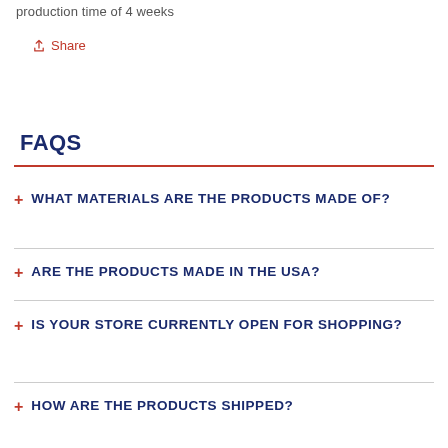production time of 4 weeks
Share
FAQS
+ WHAT MATERIALS ARE THE PRODUCTS MADE OF?
+ ARE THE PRODUCTS MADE IN THE USA?
+ IS YOUR STORE CURRENTLY OPEN FOR SHOPPING?
+ HOW ARE THE PRODUCTS SHIPPED?